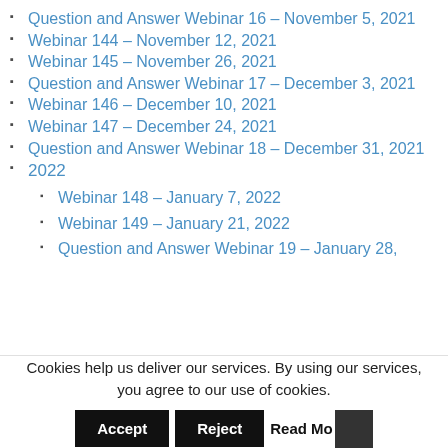Question and Answer Webinar 16 – November 5, 2021
Webinar 144 – November 12, 2021
Webinar 145 – November 26, 2021
Question and Answer Webinar 17 – December 3, 2021
Webinar 146 – December 10, 2021
Webinar 147 – December 24, 2021
Question and Answer Webinar 18 – December 31, 2021
2022
Webinar 148 – January 7, 2022
Webinar 149 – January 21, 2022
Question and Answer Webinar 19 – January 28,
Cookies help us deliver our services. By using our services, you agree to our use of cookies.